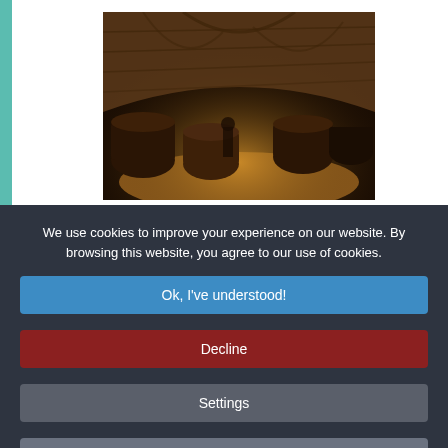[Figure (photo): Photo of a wine cellar with brick arched ceiling, wooden barrels, and warm amber lighting from below.]
We use cookies to improve your experience on our website. By browsing this website, you agree to our use of cookies.
Ok, I've understood!
Decline
Settings
More Info